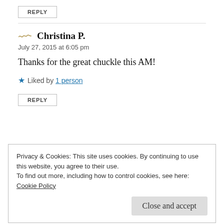REPLY
Christina P.
July 27, 2015 at 6:05 pm
Thanks for the great chuckle this AM!
Liked by 1 person
REPLY
Privacy & Cookies: This site uses cookies. By continuing to use this website, you agree to their use. To find out more, including how to control cookies, see here: Cookie Policy
Close and accept